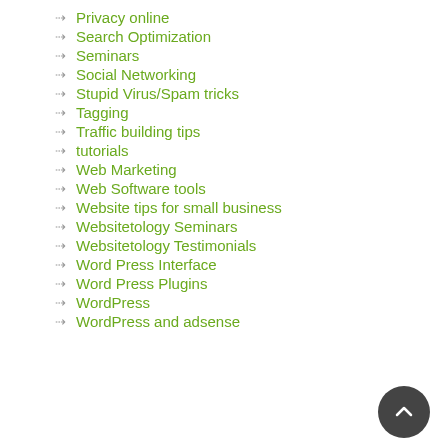Privacy online
Search Optimization
Seminars
Social Networking
Stupid Virus/Spam tricks
Tagging
Traffic building tips
tutorials
Web Marketing
Web Software tools
Website tips for small business
Websitetology Seminars
Websitetology Testimonials
Word Press Interface
Word Press Plugins
WordPress
WordPress and adsense